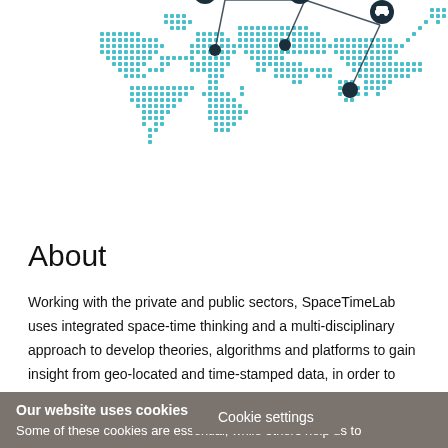[Figure (illustration): Dotted teal/turquoise world map with location pin markers connected by lines, showing major continents. Several circular icon markers (truck/vehicle icon, bar chart icon, car icon) are pinned at various locations on the map.]
About
Working with the private and public sectors, SpaceTimeLab uses integrated space-time thinking and a multi-disciplinary approach to develop theories, algorithms and platforms to gain insight from geo-located and time-stamped data, in order to engineer solutions to improve the mobility, security, health and resilience of urban li...
Cookie settings
Our website uses cookies
Some of these cookies are essential, while others help us to